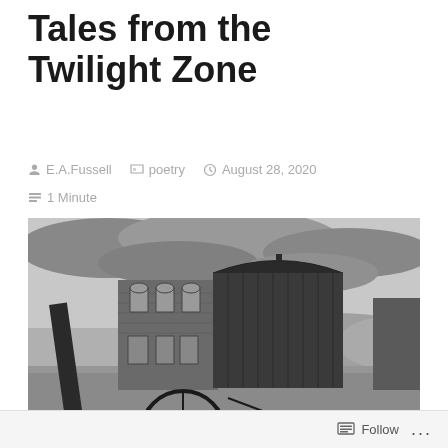Tales from the Twilight Zone
E.A.Fussell   poetry   August 28, 2020   1 Minute
[Figure (photo): Black and white photograph of an old abandoned western ghost town with a two-story brick building and a large wooden barn structure, viewed from ground level with an old wagon wheel in the foreground and rolling hills in the background under a cloudy sky.]
Follow ...